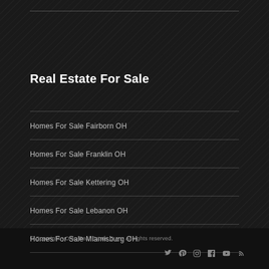Real Estate For Sale
Homes For Sale Fairborn OH
Homes For Sale Franklin OH
Homes For Sale Kettering OH
Homes For Sale Lebanon OH
Homes For Sale Miamisburg OH
© Copyright - Ohio Real Estate Guys. All rights reserved.